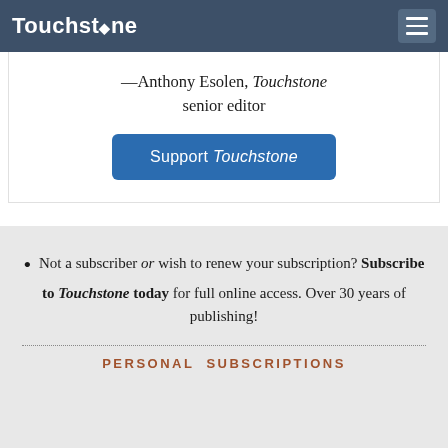Touchstone
—Anthony Esolen, Touchstone senior editor
Support Touchstone
Not a subscriber or wish to renew your subscription? Subscribe to Touchstone today for full online access. Over 30 years of publishing!
PERSONAL SUBSCRIPTIONS